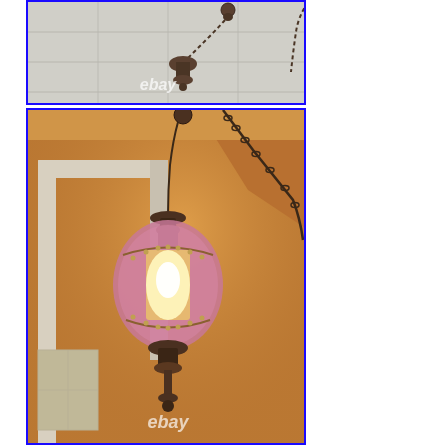[Figure (photo): Top photo: Close-up of an ornate hanging lamp ceiling mount with chain, against white wooden paneled background. eBay watermark visible.]
[Figure (photo): Main photo: Vintage/antique swag hanging lamp with pink/rose glass globe shade with crystal beading, ornate brass/bronze hardware, chain swooping to wall hook, against warm orange/yellow wall with white distressed wooden door frame visible. eBay watermark visible.]